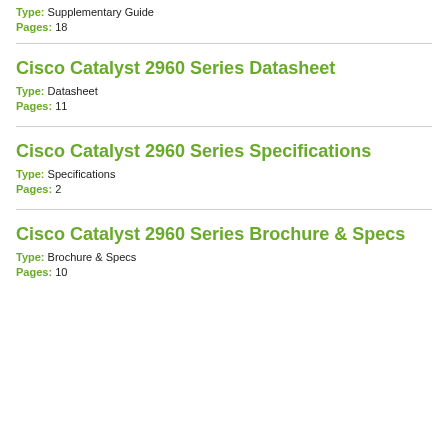Type: Supplementary Guide
Pages: 18
Cisco Catalyst 2960 Series Datasheet
Type: Datasheet
Pages: 11
Cisco Catalyst 2960 Series Specifications
Type: Specifications
Pages: 2
Cisco Catalyst 2960 Series Brochure & Specs
Type: Brochure & Specs
Pages: 10